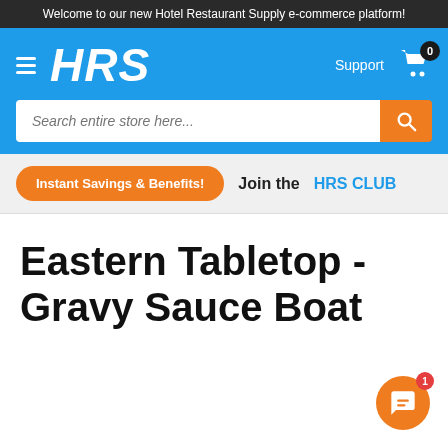Welcome to our new Hotel Restaurant Supply e-commerce platform!
[Figure (logo): HRS (Hotel Restaurant Supply) logo in white italic bold text on blue background, with hamburger menu icon on left]
Search entire store here...
Instant Savings & Benefits!  Join the  HRS CLUB
Eastern Tabletop - Gravy Sauce Boat